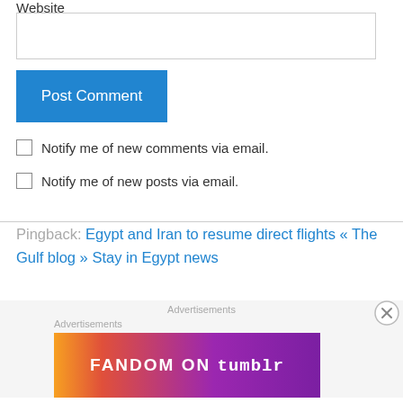Website
Post Comment
Notify me of new comments via email.
Notify me of new posts via email.
Pingback: Egypt and Iran to resume direct flights « The Gulf blog » Stay in Egypt news
Advertisements
Advertisements
[Figure (illustration): Fandom on Tumblr advertisement banner with colorful orange, red and purple gradient background]